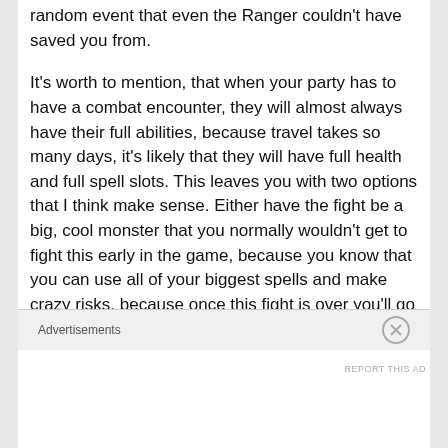random event that even the Ranger couldn't have saved you from.
It's worth to mention, that when your party has to have a combat encounter, they will almost always have their full abilities, because travel takes so many days, it's likely that they will have full health and full spell slots. This leaves you with two options that I think make sense. Either have the fight be a big, cool monster that you normally wouldn't get to fight this early in the game, because you know that you can use all of your biggest spells and make crazy risks, because once this fight is over you'll go back to full health. Or
Advertisements